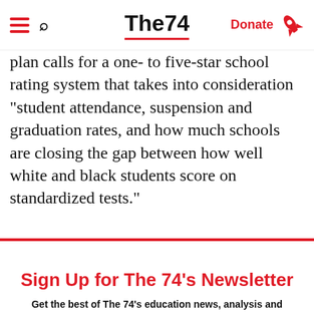The74 — navigation bar with hamburger menu, search icon, logo, Donate button, rocket icon
plan calls for a one- to five-star school rating system that takes into consideration “student attendance, suspension and graduation rates, and how much schools are closing the gap between how well white and black students score on standardized tests.”
Sign Up for The 74’s Newsletter
Get the best of The 74’s education news, analysis and commentary in your inbox each weekday morning.
Subscribe